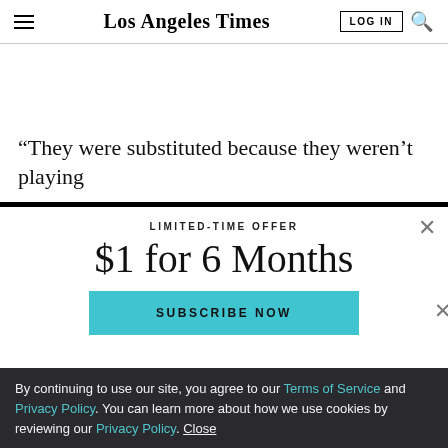Los Angeles Times
“They were substituted because they weren’t playing
LIMITED-TIME OFFER
$1 for 6 Months
SUBSCRIBE NOW
By continuing to use our site, you agree to our Terms of Service and Privacy Policy. You can learn more about how we use cookies by reviewing our Privacy Policy. Close